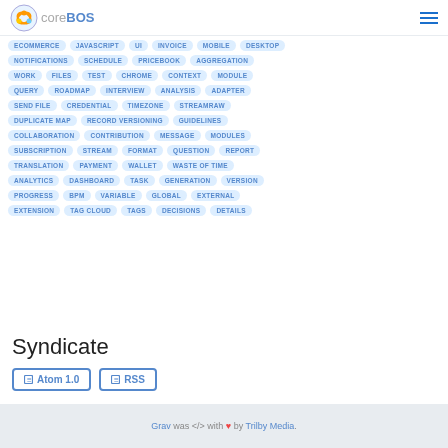coreBOS
ECOMMERCE JAVASCRIPT UI INVOICE MOBILE DESKTOP NOTIFICATIONS SCHEDULE PRICEBOOK AGGREGATION WORK FILES TEST CHROME CONTEXT MODULE QUERY ROADMAP INTERVIEW ANALYSIS ADAPTER SEND FILE CREDENTIAL TIMEZONE STREAMRAW DUPLICATE MAP RECORD VERSIONING GUIDELINES COLLABORATION CONTRIBUTION MESSAGE MODULES SUBSCRIPTION STREAM FORMAT QUESTION REPORT TRANSLATION PAYMENT WALLET WASTE OF TIME ANALYTICS DASHBOARD TASK GENERATION VERSION PROGRESS BPM VARIABLE GLOBAL EXTERNAL EXTENSION TAG CLOUD TAGS DECISIONS DETAILS
Syndicate
Atom 1.0  RSS
Grav was </> with ♥ by Trilby Media.